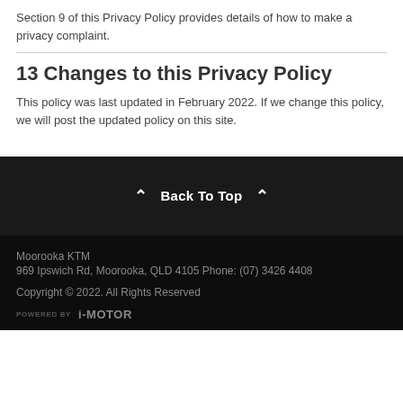Section 9 of this Privacy Policy provides details of how to make a privacy complaint.
13 Changes to this Privacy Policy
This policy was last updated in February 2022. If we change this policy, we will post the updated policy on this site.
Back To Top
Moorooka KTM
969 Ipswich Rd, Moorooka, QLD 4105 Phone: (07) 3426 4408
Copyright © 2022. All Rights Reserved
POWERED BY i-MOTOR